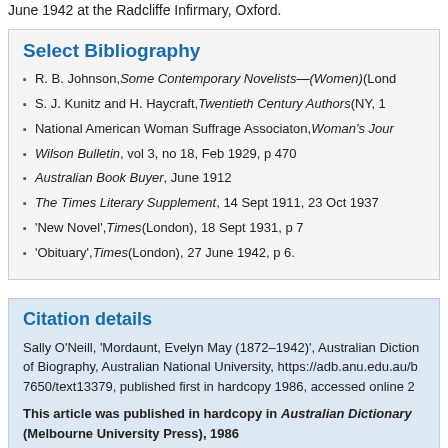June 1942 at the Radcliffe Infirmary, Oxford.
Select Bibliography
R. B. Johnson, Some Contemporary Novelists—(Women) (Lond
S. J. Kunitz and H. Haycraft, Twentieth Century Authors (NY, 1
National American Woman Suffrage Associaton, Woman's Jour
Wilson Bulletin, vol 3, no 18, Feb 1929, p 470
Australian Book Buyer, June 1912
The Times Literary Supplement, 14 Sept 1911, 23 Oct 1937
'New Novel', Times (London), 18 Sept 1931, p 7
'Obituary', Times (London), 27 June 1942, p 6.
Citation details
Sally O'Neill, 'Mordaunt, Evelyn May (1872–1942)', Australian Diction of Biography, Australian National University, https://adb.anu.edu.au/b 7650/text13379, published first in hardcopy 1986, accessed online 2
This article was published in hardcopy in Australian Dictionary (Melbourne University Press), 1986